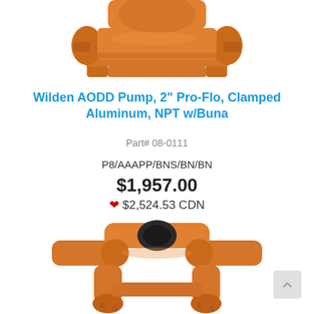[Figure (photo): Top view of an orange Wilden AODD pump, partially cropped at top of page]
Wilden AODD Pump, 2" Pro-Flo, Clamped Aluminum, NPT w/Buna
Part# 08-0111
P8/AAAPP/BNS/BN/BN
$1,957.00
🍁 $2,524.53 CDN
[Figure (photo): Bottom portion showing another orange Wilden AODD pump viewed from a slightly different angle, cropped at bottom of page]